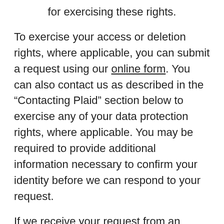for exercising these rights.
To exercise your access or deletion rights, where applicable, you can submit a request using our online form. You can also contact us as described in the “Contacting Plaid” section below to exercise any of your data protection rights, where applicable. You may be required to provide additional information necessary to confirm your identity before we can respond to your request.
If we receive your request from an authorized agent, we may ask for evidence that you have provided such agent with a power of attorney or that the agent otherwise has valid written